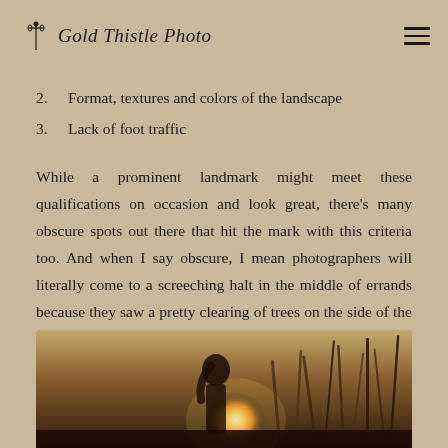Gold Thistle Photo
2.  Format, textures and colors of the landscape
3.  Lack of foot traffic
While a prominent landmark might meet these qualifications on occasion and look great, there's many obscure spots out there that hit the mark with this criteria too. And when I say obscure, I mean photographers will literally come to a screeching halt in the middle of errands because they saw a pretty clearing of trees on the side of the road.
[Figure (photo): A woman with dark curly hair photographed outdoors in a golden field with tall grasses, backlit by a setting sun creating a warm glowing light.]